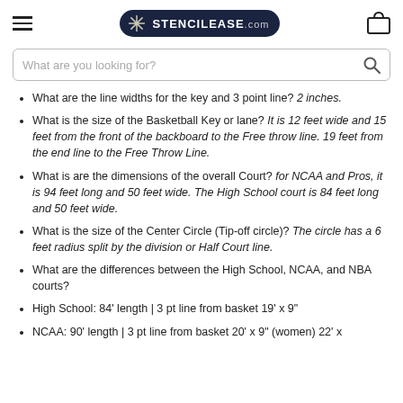StencilEase.com
What are the line widths for the key and 3 point line? 2 inches.
What is the size of the Basketball Key or lane? It is 12 feet wide and 15 feet from the front of the backboard to the Free throw line. 19 feet from the end line to the Free Throw Line.
What is are the dimensions of the overall Court? for NCAA and Pros, it is 94 feet long and 50 feet wide. The High School court is 84 feet long and 50 feet wide.
What is the size of the Center Circle (Tip-off circle)? The circle has a 6 feet radius split by the division or Half Court line.
What are the differences between the High School, NCAA, and NBA courts?
High School: 84' length | 3 pt line from basket 19' x 9"
NCAA: 90' length | 3 pt line from basket 20' x 9" (women) 22' x